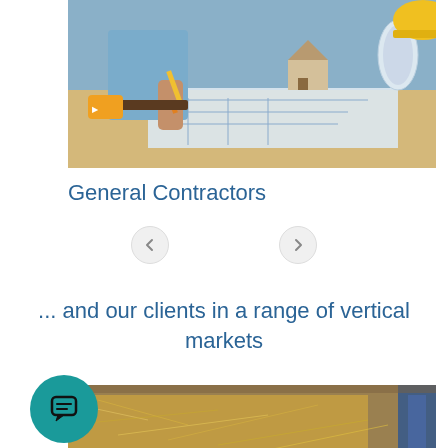[Figure (photo): Construction worker writing on blueprints at a desk with a wooden house model and rolled blueprints; another person in yellow hard hat visible on the right.]
General Contractors
[Figure (other): Left and right carousel navigation arrow buttons.]
... and our clients in a range of vertical markets
[Figure (photo): Industrial/construction interior showing golden insulation materials and metal components.]